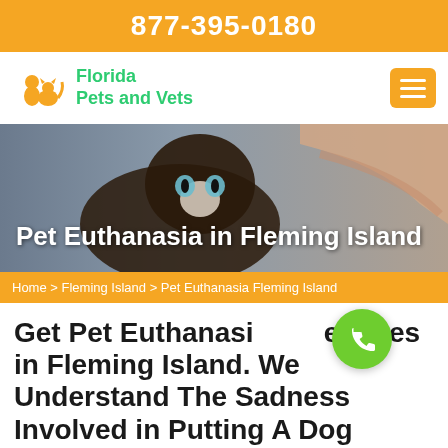877-395-0180
[Figure (logo): Florida Pets and Vets logo with orange pets icon and green text]
[Figure (photo): A Siamese cat being held/petted by human hands, used as hero background image]
Pet Euthanasia in Fleming Island
Home > Fleming Island > Pet Euthanasia Fleming Island
Get Pet Euthanasia Services in Fleming Island. We Understand The Sadness Involved in Putting A Dog Down. When The Time